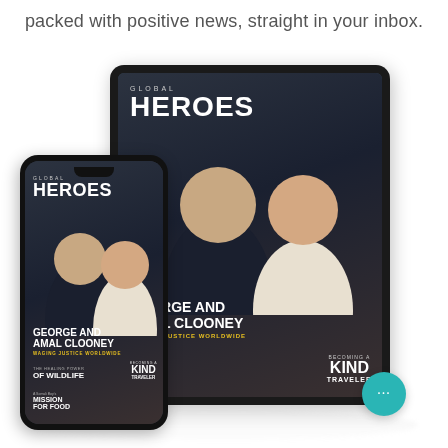packed with positive news, straight in your inbox.
[Figure (illustration): A smartphone and a tablet displaying the cover of Global Heroes magazine, featuring George and Amal Clooney. The magazine cover shows the couple in formal attire with headlines 'GEORGE AND AMAL CLOONEY', 'WAGING JUSTICE WORLDWIDE', and 'BECOMING A KIND TRAVELER'. A teal chat bubble icon appears in the bottom right corner.]